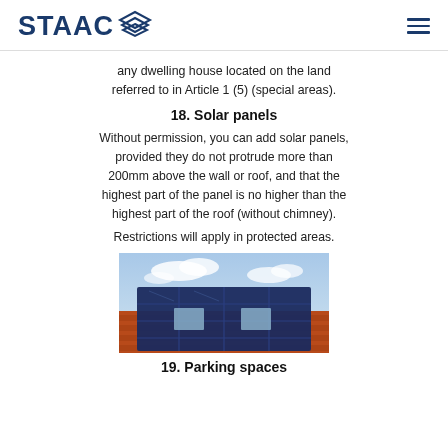STAAC [logo]
any dwelling house located on the land referred to in Article 1 (5) (special areas).
18. Solar panels
Without permission, you can add solar panels, provided they do not protrude more than 200mm above the wall or roof, and that the highest part of the panel is no higher than the highest part of the roof (without chimney).
Restrictions will apply in protected areas.
[Figure (photo): Photo of solar panels installed on an orange/terracotta tiled roof viewed from below against a cloudy blue sky]
19. Parking spaces